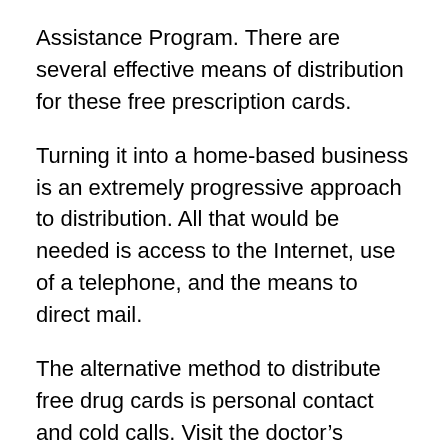Assistance Program. There are several effective means of distribution for these free prescription cards.
Turning it into a home-based business is an extremely progressive approach to distribution. All that would be needed is access to the Internet, use of a telephone, and the means to direct mail.
The alternative method to distribute free drug cards is personal contact and cold calls. Visit the doctor’s offices and clinics asking for the opportunity to explain the benefits of the drug plans to the appropriate office person and, therefore, develop a client base.
Distributors receive benefits of current training techniques, informative sales meetings, regular conference calls,